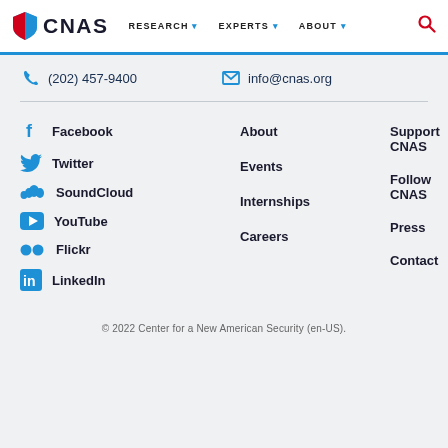CNAS | RESEARCH | EXPERTS | ABOUT
(202) 457-9400
info@cnas.org
Facebook
Twitter
SoundCloud
YouTube
Flickr
LinkedIn
About
Events
Internships
Careers
Support CNAS
Follow CNAS
Press
Contact
© 2022 Center for a New American Security (en-US).